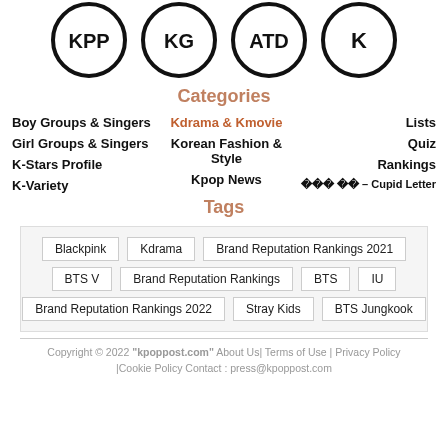[Figure (logo): Four circular logos for KPP, KG, ATD, K]
Categories
Boy Groups & Singers
Kdrama & Kmovie
Lists
Girl Groups & Singers
Korean Fashion & Style
Quiz
K-Stars Profile
Kpop News
Rankings
K-Variety
큐피드 레터 – Cupid Letter
Tags
Blackpink
Kdrama
Brand Reputation Rankings 2021
BTS V
Brand Reputation Rankings
BTS
IU
Brand Reputation Rankings 2022
Stray Kids
BTS Jungkook
Copyright © 2022 "kpoppost.com" About Us| Terms of Use | Privacy Policy |Cookie Policy Contact : press@kpoppost.com